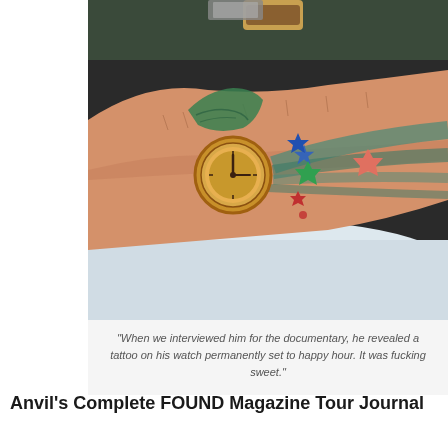[Figure (photo): Close-up photograph of a person's forearm showing a tattoo of a pocket watch/clock with colorful stars (blue, green, red, pink) and swooshing lines radiating outward. A wristwatch is visible on the wrist above. The arm rests on what appears to be white bubble wrap or plastic material.]
"When we interviewed him for the documentary, he revealed a tattoo on his watch permanently set to happy hour. It was fucking sweet."
Anvil's Complete FOUND Magazine Tour Journal